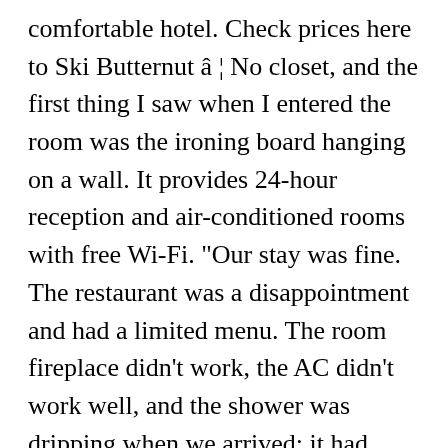comfortable hotel. Check prices here to Ski Butternut â ¦ No closet, and the first thing I saw when I entered the room was the ironing board hanging on a wall. It provides 24-hour reception and air-conditioned rooms with free Wi-Fi. "Our stay was fine. The restaurant was a disappointment and had a limited menu. The room fireplace didn't work, the AC didn't work well, and the shower was dripping when we arrived; it had soaked the floor and floor towel. Hotels near â ¦ Great Barrington (0.8 miles from Ski Butternut) Situated only 5 miles from Stockbridge & Norman Rockwell, this hotel is set in a convenient location in Great Barrington. I'd stay here again. See the latest prices and deals by choosing your dates. Book